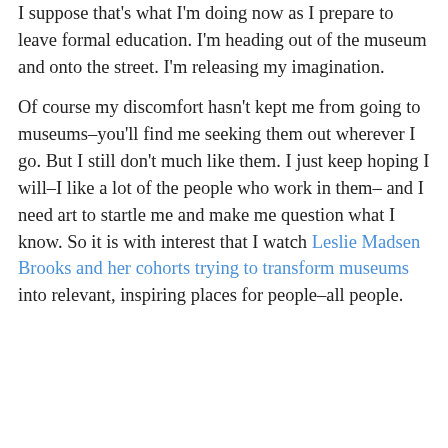I suppose that's what I'm doing now as I prepare to leave formal education. I'm heading out of the museum and onto the street. I'm releasing my imagination.
Of course my discomfort hasn't kept me from going to museums–you'll find me seeking them out wherever I go. But I still don't much like them. I just keep hoping I will–I like a lot of the people who work in them– and I need art to startle me and make me question what I know. So it is with interest that I watch Leslie Madsen Brooks and her cohorts trying to transform museums into relevant, inspiring places for people–all people.
Privacy & Cookies: This site uses cookies. By continuing to use this website, you agree to their use. To find out more, including how to control cookies, see here: Cookie Policy